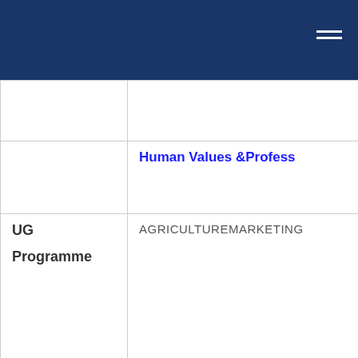|  |  |
|  | Human Values &Profess... |
| UG
Programme | AGRICULTUREMARKETING |